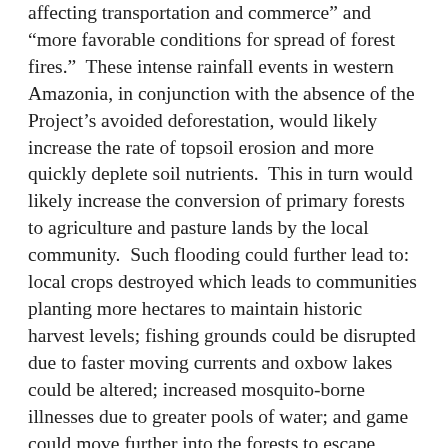affecting transportation and commerce" and "more favorable conditions for spread of forest fires." These intense rainfall events in western Amazonia, in conjunction with the absence of the Project's avoided deforestation, would likely increase the rate of topsoil erosion and more quickly deplete soil nutrients. This in turn would likely increase the conversion of primary forests to agriculture and pasture lands by the local community. Such flooding could further lead to: local crops destroyed which leads to communities planting more hectares to maintain historic harvest levels; fishing grounds could be disrupted due to faster moving currents and oxbow lakes could be altered; increased mosquito-borne illnesses due to greater pools of water; and game could move further into the forests to escape rising water levels.
Thus, the climate adaptation measures of the Envira Amazonia Project include, but are not limited to: building the community health center to mitigate potential increases in mosquito-borne illnesses; ensuring agricultural